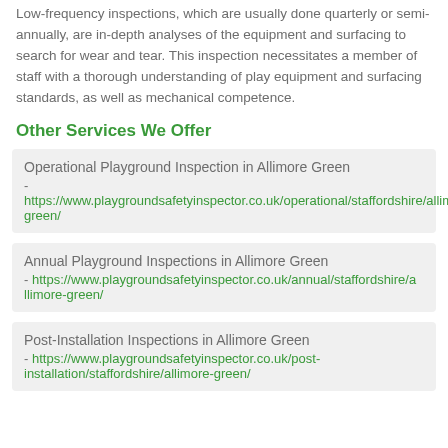Low-frequency inspections, which are usually done quarterly or semi-annually, are in-depth analyses of the equipment and surfacing to search for wear and tear. This inspection necessitates a member of staff with a thorough understanding of play equipment and surfacing standards, as well as mechanical competence.
Other Services We Offer
Operational Playground Inspection in Allimore Green - https://www.playgroundsafetyinspector.co.uk/operational/staffordshire/allimore-green/
Annual Playground Inspections in Allimore Green - https://www.playgroundsafetyinspector.co.uk/annual/staffordshire/allimore-green/
Post-Installation Inspections in Allimore Green - https://www.playgroundsafetyinspector.co.uk/post-installation/staffordshire/allimore-green/